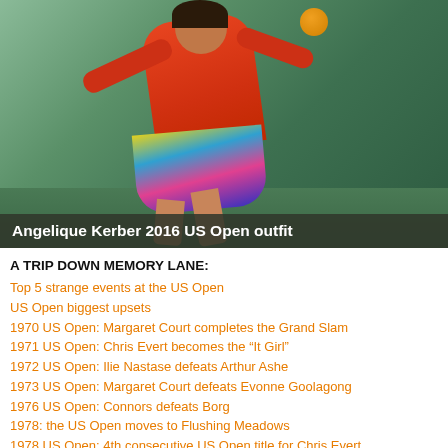[Figure (photo): Tennis player Angelique Kerber mid-swing in an orange top and colorful skirt against a green court background, wearing her 2016 US Open outfit]
Angelique Kerber 2016 US Open outfit
A TRIP DOWN MEMORY LANE:
Top 5 strange events at the US Open
US Open biggest upsets
1970 US Open: Margaret Court completes the Grand Slam
1971 US Open: Chris Evert becomes the “It Girl”
1972 US Open: Ilie Nastase defeats Arthur Ashe
1973 US Open: Margaret Court defeats Evonne Goolagong
1976 US Open: Connors defeats Borg
1978: the US Open moves to Flushing Meadows
1978 US Open: 4th consecutive US Open title for Chris Evert
1978 US Open: Jimmy Connors defeats Bjorn Borg
79 US Open 2nd round: McEnroe vs Nastase, chaos on court
1979 US Open: John McEnroe defeats Vitas Gerulaitis